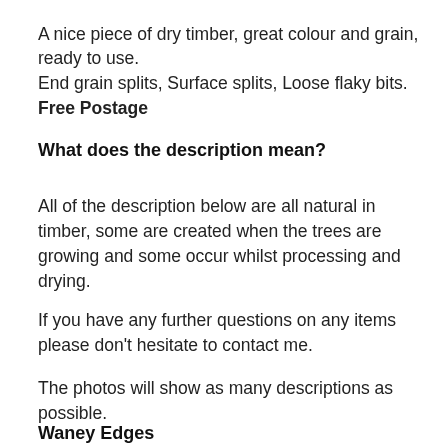A nice piece of dry timber, great colour and grain, ready to use.
End grain splits, Surface splits, Loose flaky bits.
Free Postage
What does the description mean?
All of the description below are all natural in timber, some are created when the trees are growing and some occur whilst processing and drying.
If you have any further questions on any items please don't hesitate to contact me.
The photos will show as many descriptions as possible.
Waney Edges
This is where the timber has 1 or 2 of the natural...